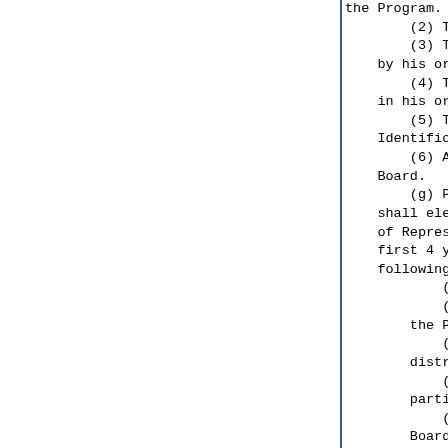the Program.
        (2) The costs associated
        (3) The duties assigned t
    by his or her supervisor.
        (4) The current status of
    in his or her educator prepar
        (5) The qualified partici
    Identification Number, if ava
        (6) Any other information
    Board.
        (g) Prior to the 2023-2024
    shall electronically submit a re
    of Representatives and the Secre
    first 4 years of the program, inc
    following information:
            (1) The participating sch
            (2) The number of qualifi
        the Program.
            (3) The costs associated
        district.
            (4) A summary of the duti
        participants by school distri
            (5) Any other information
        Board.
        (h) The State Board may
    necessary to implement this Secti
        (i) Nothing in this Section s
    school district to participate in
    (Source: P.A. 100-982, eff. 8-19-